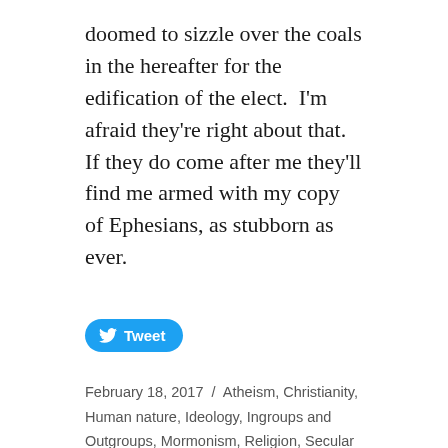doomed to sizzle over the coals in the hereafter for the edification of the elect.  I'm afraid they're right about that.  If they do come after me they'll find me armed with my copy of Ephesians, as stubborn as ever.
[Figure (other): Twitter Tweet button with bird logo]
February 18, 2017 / Atheism, Christianity, Human nature, Ideology, Ingroups and Outgroups, Mormonism, Religion, Secular Religions / Latter Day Saints, Mormons / 8 Comments
The “Moral Philosophers” and the “Power of the